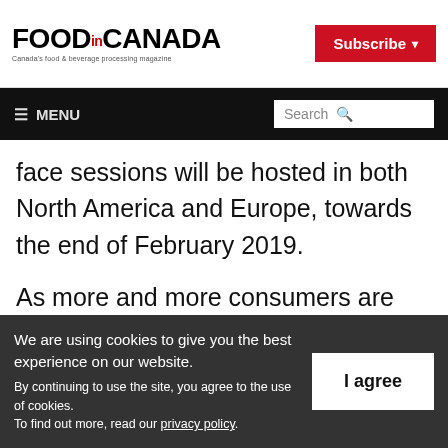FOOD in CANADA — Canada's food & beverage processing magazine
face sessions will be hosted in both North America and Europe, towards the end of February 2019.
As more and more consumers are incorporating plant-based foods into their diets, they are also increasingly discerning
We are using cookies to give you the best experience on our website. By continuing to use the site, you agree to the use of cookies. To find out more, read our privacy policy.